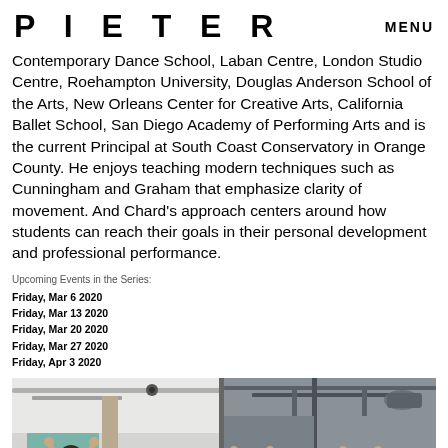PIETER   MENU
Contemporary Dance School, Laban Centre, London Studio Centre, Roehampton University, Douglas Anderson School of the Arts, New Orleans Center for Creative Arts, California Ballet School, San Diego Academy of Performing Arts and is the current Principal at South Coast Conservatory in Orange County. He enjoys teaching modern techniques such as Cunningham and Graham that emphasize clarity of movement. And Chard's approach centers around how students can reach their goals in their personal development and professional performance.
Upcoming Events in the Series:
Friday, Mar 6 2020
Friday, Mar 13 2020
Friday, Mar 20 2020
Friday, Mar 27 2020
Friday, Apr 3 2020
[Figure (photo): Dance studio photo showing two panels: left panel has a dancer with arms raised in front of a teal board and white wall; right panel shows multiple dancers with arms raised in a studio with exposed ceiling pipes and a mirror or divider bar.]